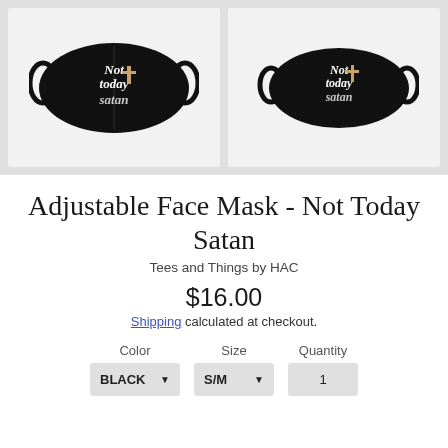[Figure (photo): Two black adjustable face masks with 'Not today Satan' text printed on them, shown from the front. Left image shows full mask, right image shows a slightly angled view.]
Adjustable Face Mask - Not Today Satan
Tees and Things by HAC
$16.00
Shipping calculated at checkout.
Color: BLACK  Size: S/M  Quantity: 1